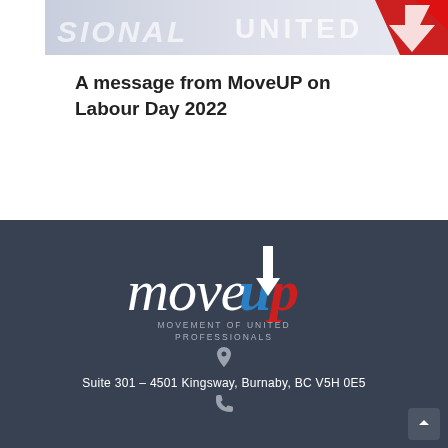[Figure (photo): Partial banner image showing text 'SIONAL', 'UNITED', and a red arrow/logo element on a light blue-grey background]
A message from MoveUP on Labour Day 2022
[Figure (logo): MoveUP logo — Movement of United Professionals — white script 'move', blue 'u', red 'p' with white upward arrow, on dark background]
Suite 301 – 4501 Kingsway, Burnaby, BC V5H 0E5